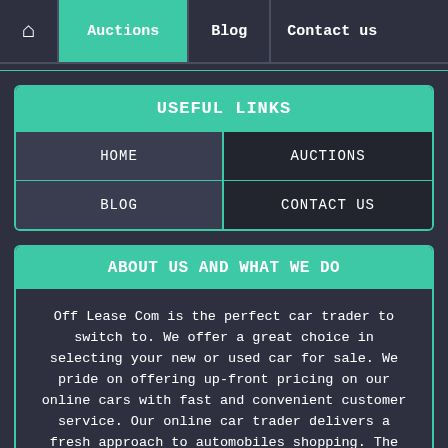Home | Auctions | Blog | Contact us
USEFUL LINKS
| HOME | AUCTIONS |
| BLOG | CONTACT US |
ABOUT US AND WHAT WE DO
Off Lease Com is the perfect car trader to switch to. We offer a great choice in selecting your new or used car for sale. We pride on offering up-front pricing on our online cars with fast and convenient customer service. Our online car trader delivers a fresh approach to automobiles shopping. The act of purchasing will become easy and fun with our